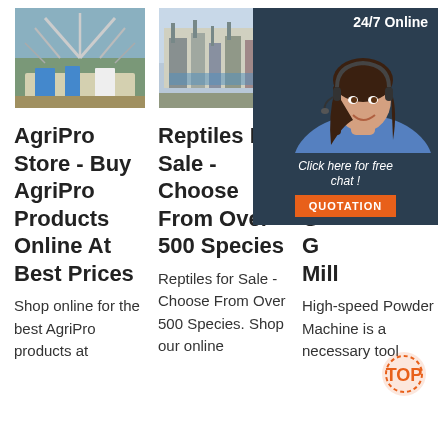[Figure (photo): Industrial grain/powder processing machinery with metal frame structure, yellow and blue equipment]
[Figure (photo): Industrial milling/processing equipment with blue and white machinery]
[Figure (photo): Factory building exterior with equipment; overlaid with a customer service chat widget showing a woman with headset, '24/7 Online' header, 'Click here for free chat!' text, and orange QUOTATION button]
AgriPro Store - Buy AgriPro Products Online At Best Prices
Shop online for the best AgriPro products at
Reptiles For Sale - Choose From Over 500 Species
Reptiles for Sale - Choose From Over 500 Species. Shop our online
A S E G G Mill
High-speed Powder Machine is a necessary tool